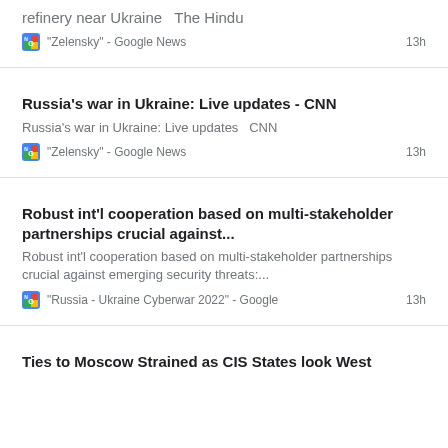refinery near Ukraine  The Hindu
"Zelensky" - Google News   13h
Russia's war in Ukraine: Live updates - CNN
Russia's war in Ukraine: Live updates  CNN
"Zelensky" - Google News   13h
Robust int'l cooperation based on multi-stakeholder partnerships crucial against...
Robust int'l cooperation based on multi-stakeholder partnerships crucial against emerging security threats:...
"Russia - Ukraine Cyberwar 2022" - Google   13h
Ties to Moscow Strained as CIS States look West